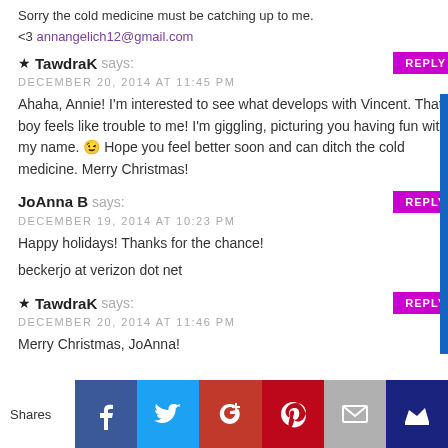Sorry the cold medicine must be catching up to me.
<3 annangelich12@gmail.com
TawdraK says: DECEMBER 20, 2014 AT 11:45 PM
Ahaha, Annie! I'm interested to see what develops with Vincent. That boy feels like trouble to me! I'm giggling, picturing you having fun with my name. 😉 Hope you feel better soon and can ditch the cold medicine. Merry Christmas!
JoAnna B says: DECEMBER 19, 2014 AT 10:23 PM
Happy holidays! Thanks for the chance!

beckerjo at verizon dot net
TawdraK says: DECEMBER 20, 2014 AT 11:46 PM
Merry Christmas, JoAnna!
[Figure (infographic): Social share bar with Shares label, Facebook, Twitter, Google+, Pinterest, Email, and Crown icons]